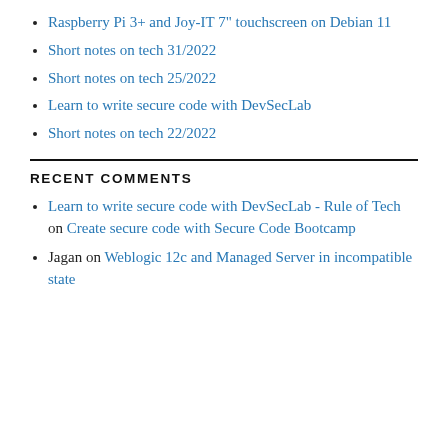Raspberry Pi 3+ and Joy-IT 7" touchscreen on Debian 11
Short notes on tech 31/2022
Short notes on tech 25/2022
Learn to write secure code with DevSecLab
Short notes on tech 22/2022
RECENT COMMENTS
Learn to write secure code with DevSecLab - Rule of Tech on Create secure code with Secure Code Bootcamp
Jagan on Weblogic 12c and Managed Server in incompatible state